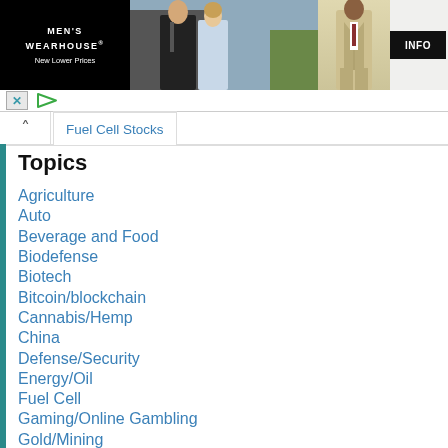[Figure (photo): Men's Wearhouse advertisement banner showing logo on black background, a couple in formal wear, a man in tan suit, and an INFO button]
Fuel Cell Stocks
Topics
Agriculture
Auto
Beverage and Food
Biodefense
Biotech
Bitcoin/blockchain
Cannabis/Hemp
China
Defense/Security
Energy/Oil
Fuel Cell
Gaming/Online Gambling
Gold/Mining